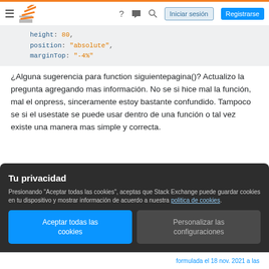Stack Overflow navigation bar with Iniciar sesión and Registrarse buttons
[Figure (screenshot): Code snippet showing height: 80, position: 'absolute', marginTop: '-4%']
¿Alguna sugerencia para function siguientepagina()? Actualizo la pregunta agregando mas información. No se si hice mal la función, mal el onpress, sinceramente estoy bastante confundido. Tampoco se si el usestate se puede usar dentro de una función o tal vez existe una manera mas simple y correcta.
Tu privacidad
Presionando "Aceptar todas las cookies", aceptas que Stack Exchange puede guardar cookies en tu dispositivo y mostrar información de acuerdo a nuestra politica de cookies.
Aceptar todas las cookies
Personalizar las configuraciones
formulada el 18 nov. 2021 a las